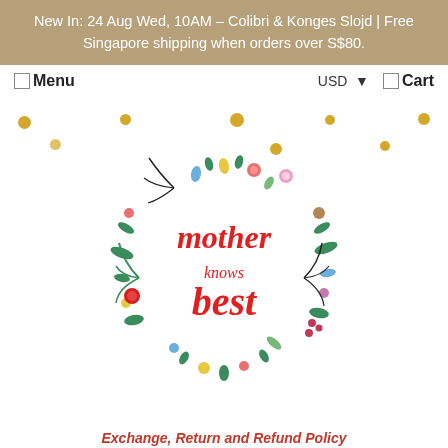New In: 24 Aug Wed, 10AM – Colibri & Konges Slojd | Free Singapore shipping when orders over S$80.
Menu | USD ▲▼ | Cart
[Figure (logo): Circular floral wreath logo with red script text reading 'mother knows best' in the center, surrounded by colorful illustrated flowers, leaves, and botanicals.]
Exchange, Return and Refund Policy